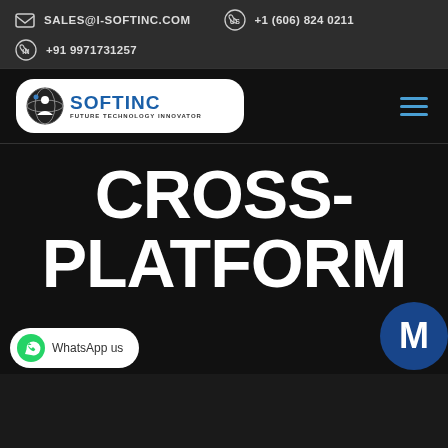SALES@I-SOFTINC.COM   +1 (606) 824 0211   +91 9971731257
[Figure (logo): iSOFTINC Future Technology Innovator logo — white rounded rectangle containing a sphere/globe icon and blue bold text SOFTINC with tagline FUTURE TECHNOLOGY INNOVATOR]
CROSS-PLATFORM